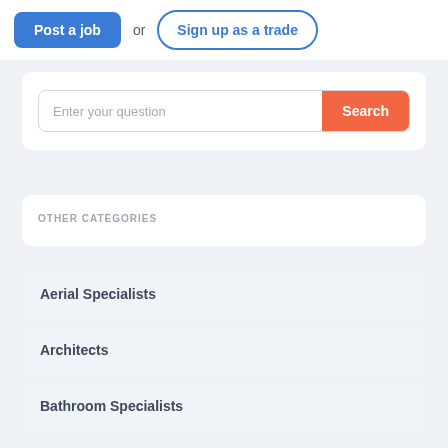Post a job  or  Sign up as a trade
Enter your question
OTHER CATEGORIES
Aerial Specialists
Architects
Bathroom Specialists